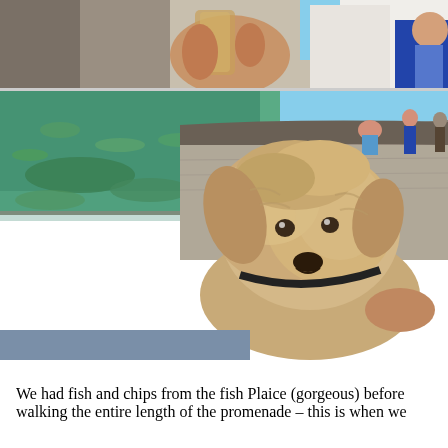[Figure (photo): Top portion: close-up of a hand holding a glass beer/drink outdoors, person in white shirt visible in background. Bottom portion: a scruffy tan/cream-colored terrier dog looking up at camera, with a harbor wall and clear green seawater visible behind it, people in the background on a promenade.]
We had fish and chips from the fish Plaice (gorgeous) before walking the entire length of the promenade – this is when we